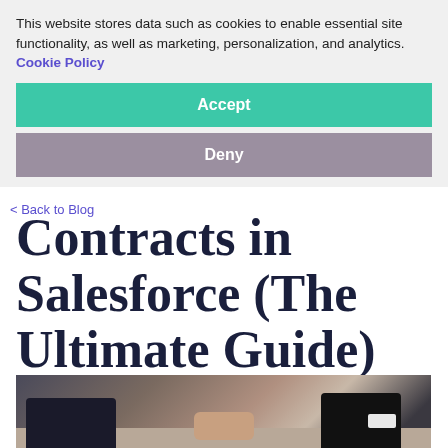This website stores data such as cookies to enable essential site functionality, as well as marketing, personalization, and analytics. Cookie Policy
Accept
Deny
< Back to Blog
Automating Contracts in Salesforce (The Ultimate Guide)
[Figure (photo): Two people in dark suits shaking hands over a table, business handshake photo]